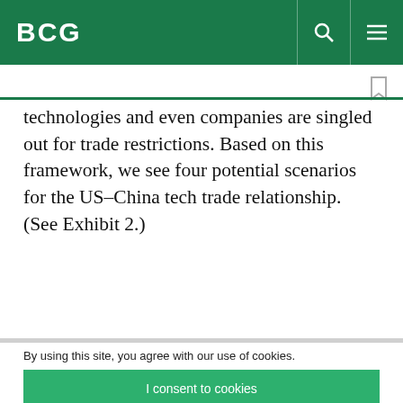BCG
technologies and even companies are singled out for trade restrictions. Based on this framework, we see four potential scenarios for the US–China tech trade relationship. (See Exhibit 2.)
By using this site, you agree with our use of cookies.
I consent to cookies
Want to know more?
Read our Cookie Policy